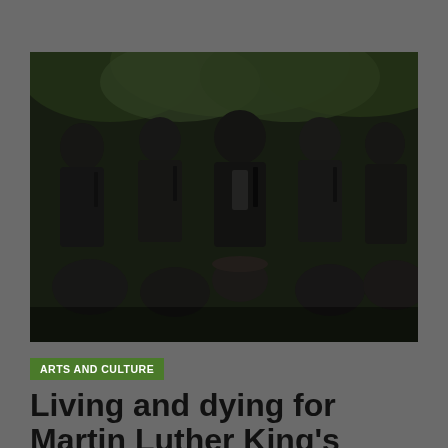[Figure (photo): Group of men in dark suits seated and standing outdoors in front of foliage, with children seated in front row. Dark, moody toned photograph.]
ARTS AND CULTURE
Living and dying for Martin Luther King's dream